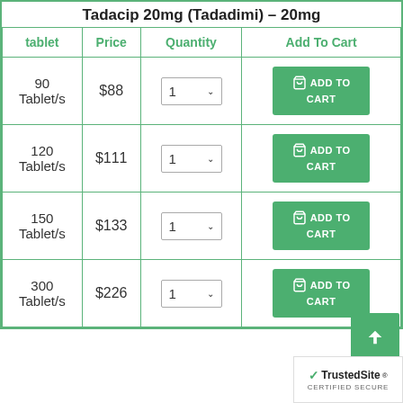Tadacip 20mg (Tadadimi) – 20mg
| tablet | Price | Quantity | Add To Cart |
| --- | --- | --- | --- |
| 90 Tablet/s | $88 | 1 | ADD TO CART |
| 120 Tablet/s | $111 | 1 | ADD TO CART |
| 150 Tablet/s | $133 | 1 | ADD TO CART |
| 300 Tablet/s | $226 | 1 | ADD TO CART |